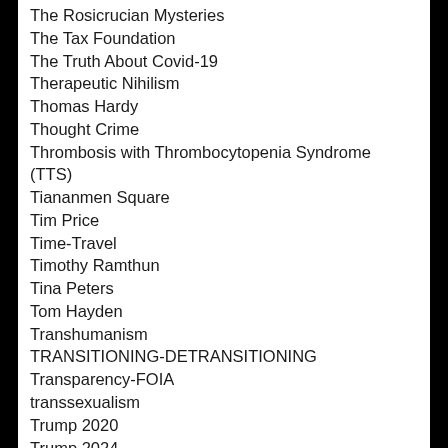The Rosicrucian Mysteries
The Tax Foundation
The Truth About Covid-19
Therapeutic Nihilism
Thomas Hardy
Thought Crime
Thrombosis with Thrombocytopenia Syndrome (TTS)
Tiananmen Square
Tim Price
Time-Travel
Timothy Ramthun
Tina Peters
Tom Hayden
Transhumanism
TRANSITIONING-DETRANSITIONING
Transparency-FOIA
transsexualism
Trump 2020
Trump 2024
TY